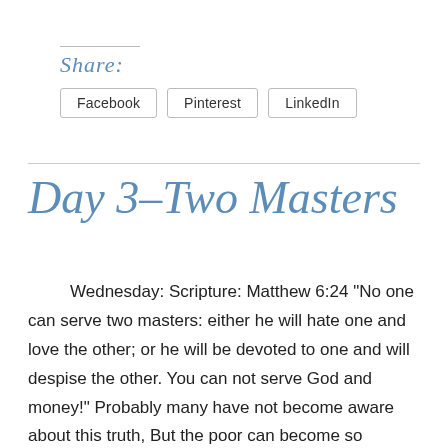Share:
Facebook  Pinterest  LinkedIn
Day 3–Two Masters
Wednesday: Scripture: Matthew 6:24 “No one can serve two masters: either he will hate one and love the other; or he will be devoted to one and will despise the other. You can not serve God and money!" Probably many have not become aware about this truth,  But the poor can become so consumed with how they'll become